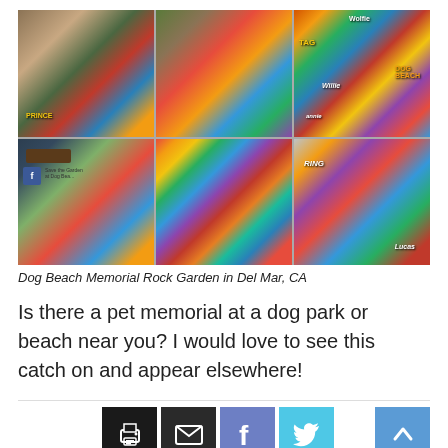[Figure (photo): Six-photo collage of the Dog Beach Memorial Rock Garden in Del Mar, CA, showing colorful painted rocks with pet names arranged in a garden setting.]
Dog Beach Memorial Rock Garden in Del Mar, CA
Is there a pet memorial at a dog park or beach near you? I would love to see this catch on and appear elsewhere!
[Figure (infographic): Social sharing buttons: print, email, Facebook, Twitter, and a back-to-top arrow button.]